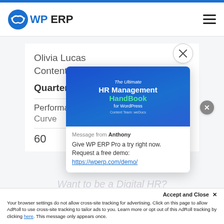WP ERP
Olivia Lucas
Content Marketer
Quarter 1: 202…
Performance
Curve
60
[Figure (screenshot): WP ERP HR Management HandBook for WordPress popup card with blue cover and chat message from Anthony: 'Give WP ERP Pro a try right now. Request a free demo: https://wperp.com/demo/']
Accept and Close ×
Your browser settings do not allow cross-site tracking for advertising. Click on this page to allow AdRoll to use cross-site tracking to tailor ads to you. Learn more or opt out of this AdRoll tracking by clicking here. This message only appears once.